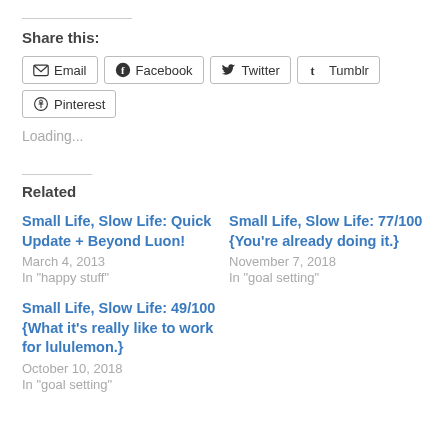Share this:
Email  Facebook  Twitter  Tumblr  Pinterest
Loading...
Related
Small Life, Slow Life: Quick Update + Beyond Luon!
March 4, 2013
In "happy stuff"
Small Life, Slow Life: 77/100 {You're already doing it.}
November 7, 2018
In "goal setting"
Small Life, Slow Life: 49/100 {What it's really like to work for lululemon.}
October 10, 2018
In "goal setting"